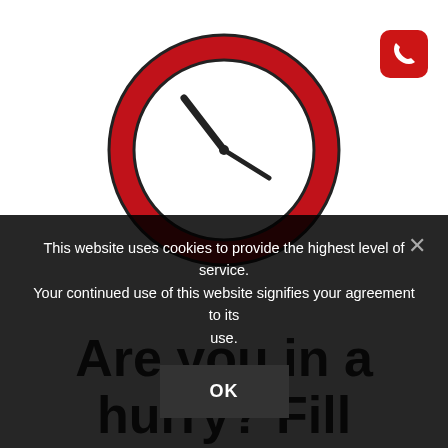[Figure (illustration): Red-rimmed analog clock showing approximately 10:10, with black clock hands on a white face, thick red outer ring and thin black inner border]
[Figure (illustration): Red rounded-square button with a white telephone/phone handset icon]
Are you in a hurry? Fill in the form and we will
This website uses cookies to provide the highest level of service. Your continued use of this website signifies your agreement to its use.
OK